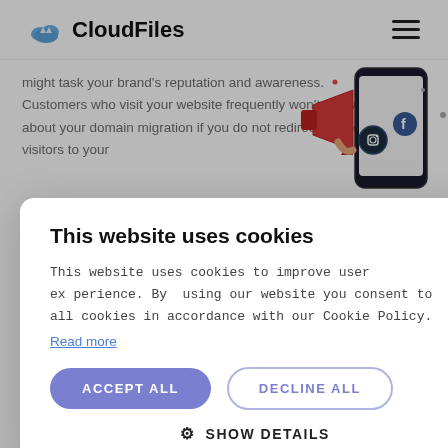CloudFiles
might task your brand's reputation and awareness. Customers who visit your website frequently won't know about your domain migration if you do not redirect your old visitors to your
[Figure (illustration): Illustration of a megaphone/loudspeaker with social media icons on a smartphone screen]
backlinks
s are active links to y content on a third-p domain name chang ct all your backlinks atively. Instead, you c new and more effect strategy.
This website uses cookies

This website uses cookies to improve user experience. By using our website you consent to all cookies in accordance with our Cookie Policy.
Read more

ACCEPT ALL   DECLINE ALL

⚙ SHOW DETAILS
klinks may
effectively contribute to your SEO ran